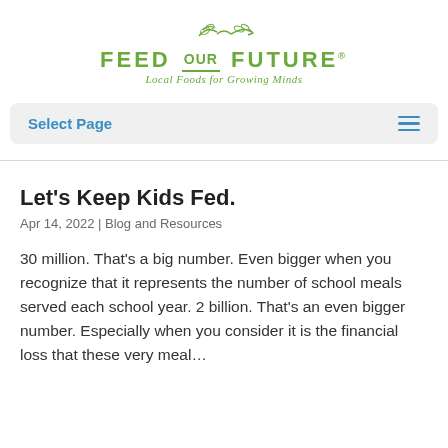[Figure (logo): Feed Our Future logo with leaf/arrow graphic above text 'FEED OUR FUTURE' and subtitle 'Local Foods for Growing Minds']
Select Page
Let's Keep Kids Fed.
Apr 14, 2022 | Blog and Resources
30 million. That's a big number. Even bigger when you recognize that it represents the number of school meals served each school year. 2 billion. That's an even bigger number. Especially when you consider it is the financial loss that these very meal...